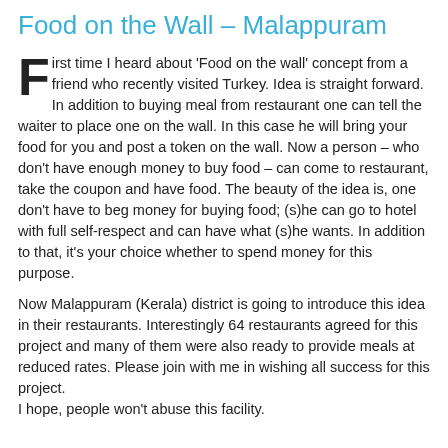Food on the Wall – Malappuram
First time I heard about ‘Food on the wall’ concept from a friend who recently visited Turkey. Idea is straight forward. In addition to buying meal from restaurant one can tell the waiter to place one on the wall. In this case he will bring your food for you and post a token on the wall. Now a person – who don’t have enough money to buy food – can come to restaurant, take the coupon and have food. The beauty of the idea is, one don’t have to beg money for buying food; (s)he can go to hotel with full self-respect and can have what (s)he wants. In addition to that, it’s your choice whether to spend money for this purpose.
Now Malappuram (Kerala) district is going to introduce this idea in their restaurants. Interestingly 64 restaurants agreed for this project and many of them were also ready to provide meals at reduced rates. Please join with me in wishing all success for this project.
I hope, people won’t abuse this facility.